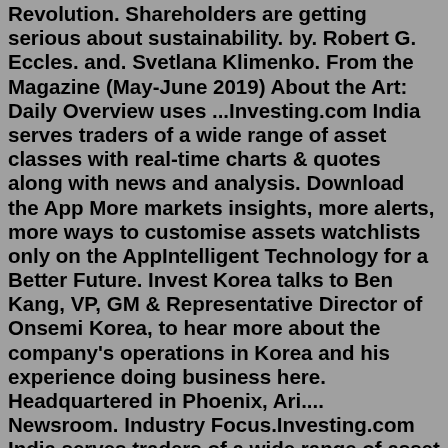Revolution. Shareholders are getting serious about sustainability. by. Robert G. Eccles. and. Svetlana Klimenko. From the Magazine (May-June 2019) About the Art: Daily Overview uses ...Investing.com India serves traders of a wide range of asset classes with real-time charts & quotes along with news and analysis. Download the App More markets insights, more alerts, more ways to customise assets watchlists only on the AppIntelligent Technology for a Better Future. Invest Korea talks to Ben Kang, VP, GM & Representative Director of Onsemi Korea, to hear more about the company's operations in Korea and his experience doing business here. Headquartered in Phoenix, Ari.... Newsroom. Industry Focus.Investing.com India serves traders of a wide range of asset classes with real-time charts & quotes along with news and analysis. Download the App More markets insights, more alerts, more ways to customise assets watchlists only on the AppThis year's report reviews investment in the Sustainable Development Goals (SDGs) and shows the influence